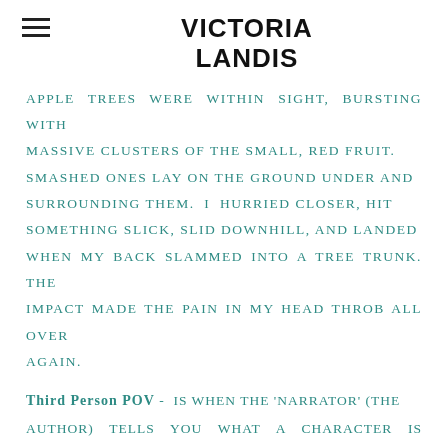VICTORIA LANDIS
APPLE TREES WERE WITHIN SIGHT, BURSTING WITH MASSIVE CLUSTERS OF THE SMALL, RED FRUIT. SMASHED ONES LAY ON THE GROUND UNDER AND SURROUNDING THEM. I HURRIED CLOSER, HIT SOMETHING SLICK, SLID DOWNHILL, AND LANDED WHEN MY BACK SLAMMED INTO A TREE TRUNK. THE IMPACT MADE THE PAIN IN MY HEAD THROB ALL OVER AGAIN.
Third Person POV - IS WHEN THE 'NARRATOR' (THE AUTHOR) TELLS YOU WHAT A CHARACTER IS THINKING